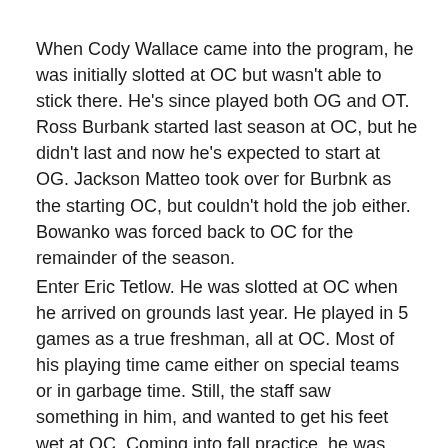When Cody Wallace came into the program, he was initially slotted at OC but wasn't able to stick there. He's since played both OG and OT. Ross Burbank started last season at OC, but he didn't last and now he's expected to start at OG. Jackson Matteo took over for Burbnk as the starting OC, but couldn't hold the job either. Bowanko was forced back to OC for the remainder of the season.
Enter Eric Tetlow. He was slotted at OC when he arrived on grounds last year. He played in 5 games as a true freshman, all at OC. Most of his playing time came either on special teams or in garbage time. Still, the staff saw something in him, and wanted to get his feet wet at OC. Coming into fall practice, he was seen as the likely starting OC. But, he's split time there with